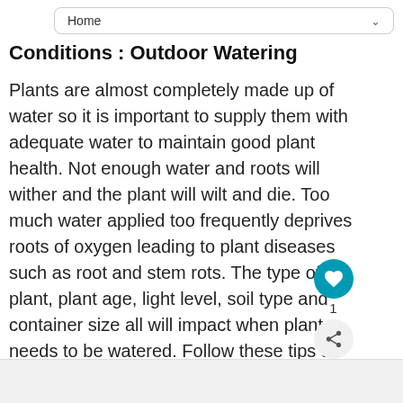Home
Conditions : Outdoor Watering
Plants are almost completely made up of water so it is important to supply them with adequate water to maintain good plant health. Not enough water and roots will wither and the plant will wilt and die. Too much water applied too frequently deprives roots of oxygen leading to plant diseases such as root and stem rots. The type of plant, plant age, light level, soil type and container size all will impact when plant needs to be watered. Follow these tips to ensure successful watering:
[Figure (illustration): What's Next panel with Siberian Iris flower image and navigation arrow]